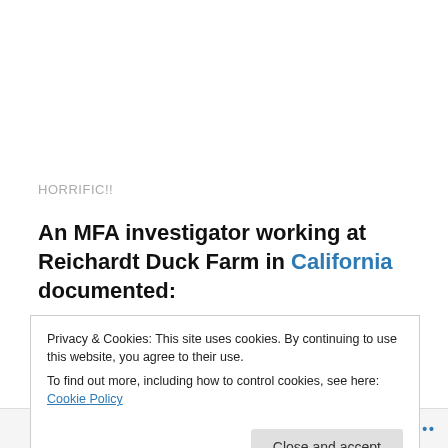HORRIFIC!!
An MFA investigator working at Reichardt Duck Farm in California documented:
Baby ducklings having the tips of their beaks burned with red-hot metal
Ducks suffering from illness and injuries without
Privacy & Cookies: This site uses cookies. By continuing to use this website, you agree to their use.
To find out more, including how to control cookies, see here: Cookie Policy
Follow